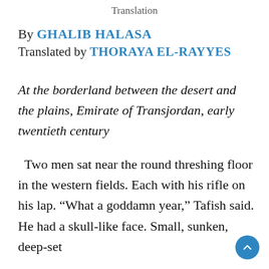Translation
By GHALIB HALASA
Translated by THORAYA EL-RAYYES
At the borderland between the desert and the plains, Emirate of Transjordan, early twentieth century
Two men sat near the round threshing floor in the western fields. Each with his rifle on his lap. “What a goddamn year,” Tafish said. He had a skull-like face. Small, sunken, deep-set